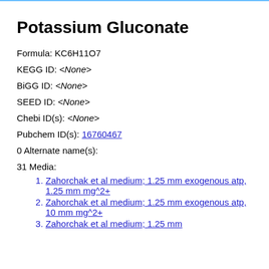Potassium Gluconate
Formula: KC6H11O7
KEGG ID: <None>
BiGG ID: <None>
SEED ID: <None>
Chebi ID(s): <None>
Pubchem ID(s): 16760467
0 Alternate name(s):
31 Media:
Zahorchak et al medium; 1.25 mm exogenous atp, 1.25 mm mg^2+
Zahorchak et al medium; 1.25 mm exogenous atp, 10 mm mg^2+
Zahorchak et al medium; 1.25 mm